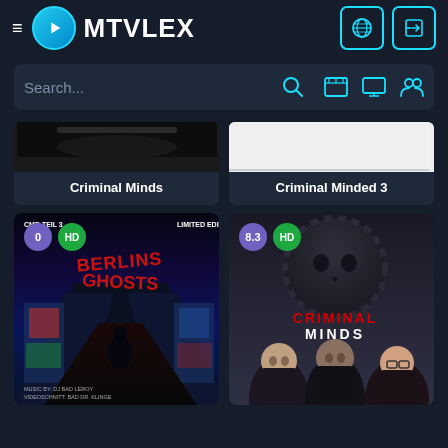MTVLEX
Search...
Criminal Minds
Criminal Minded 3
[Figure (screenshot): Graffiti movie thumbnail with red graffiti text 'BERLINS GHOST', 'CMD TEIL 3', 'LIMITED EDITION', badges showing '0' and 'HD', text 'MUSIC BY: DJ BAD LEROY / VIDEOSCHNITT: BAD DI KLINGE']
[Figure (screenshot): Criminal Minds TV show poster with three cast members, dark gear/skull background, red and white 'CRIMINAL MINDS' text, badges showing '8.3' and 'HD']